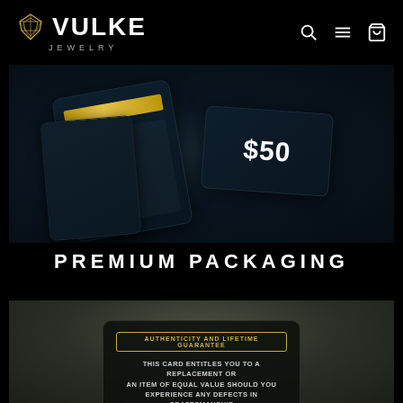VULKE JEWELRY — navigation bar with search, menu, and cart icons
[Figure (photo): Dark moody product photo of Vulke Jewelry gift cards and packaging on dark background, including a card showing $50]
PREMIUM PACKAGING
[Figure (photo): Close-up of an authenticity and lifetime guarantee card reading: AUTHENTICITY AND LIFETIME GUARANTEE — THIS CARD ENTITLES YOU TO A REPLACEMENT OR AN ITEM OF EQUAL VALUE SHOULD YOU EXPERIENCE ANY DEFECTS IN CRAFTSMANSHIP]